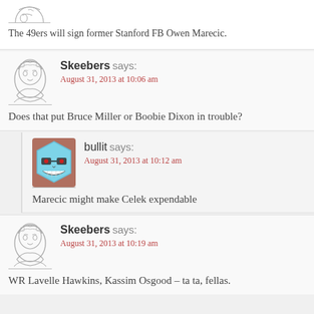[Figure (illustration): Partial avatar at top of page (cropped sketch illustration)]
The 49ers will sign former Stanford FB Owen Marecic.
[Figure (illustration): Skeebers avatar - hand-drawn sketch illustration of a woman]
Skeebers says:
August 31, 2013 at 10:06 am
Does that put Bruce Miller or Boobie Dixon in trouble?
[Figure (illustration): bullit avatar - cartoon hexagon face with glasses and wide grin, colored blue/teal]
bullit says:
August 31, 2013 at 10:12 am
Marecic might make Celek expendable
[Figure (illustration): Skeebers avatar - hand-drawn sketch illustration of a woman]
Skeebers says:
August 31, 2013 at 10:19 am
WR Lavelle Hawkins, Kassim Osgood – ta ta, fellas.